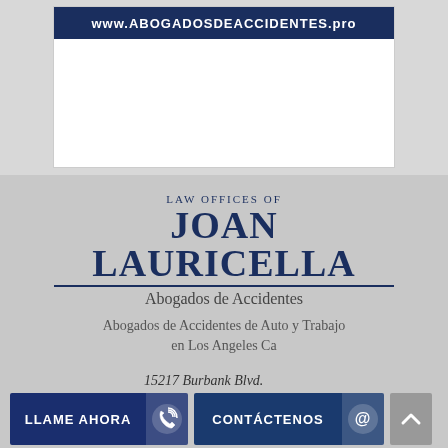[Figure (screenshot): Website banner showing www.ABOGADOSDEACCIDENTES.pro on dark background]
LAW OFFICES OF JOAN LAURICELLA
Abogados de Accidentes
Abogados de Accidentes de Auto y Trabajo en Los Angeles Ca
15217 Burbank Blvd.
Van Nuys, CA 91411
1 (888) 007-2797
[Figure (screenshot): Two call-to-action buttons: LLAME AHORA (call now) and CONTÁCTENOS (contact us)]